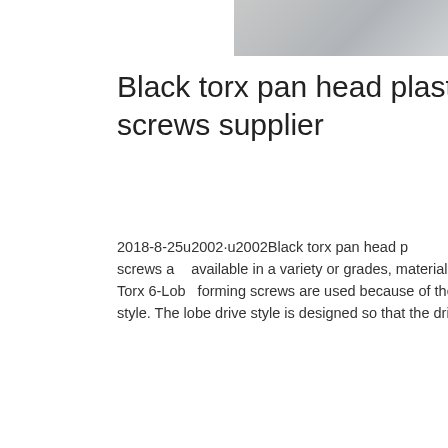[Figure (photo): Gray metallic brushed surface photo at top of page]
Black torx pan head plastite thread forming screws supplier
2018-8-25u2002·u2002Black torx pan head plastite thread forming screws supplier. Our screws are available in a variety or grades, materials, and finishes, in metric and inch sizes. Torx 6-Lobe forming screws are used because of the unconventional and efficient drive style. The lobe drive style is designed so that the driver…
[Figure (photo): Chat widget with woman wearing headset, 24/7 Online header, Click here for free chat text, and QUOTATION button]
Get Price